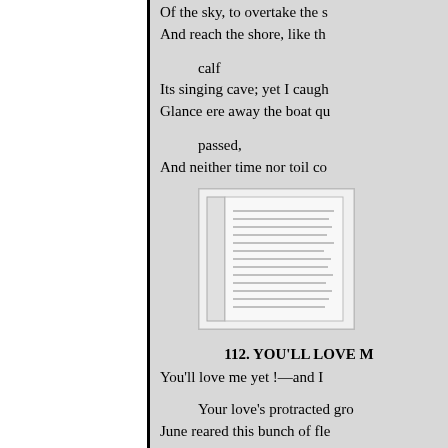Of the sky, to overtake the s
And reach the shore, like th
calf
Its singing cave; yet I caugh
Glance ere away the boat qu
passed,
And neither time nor toil co
[Figure (illustration): Small embedded book or page image with text]
112. YOU'LL LOVE M
You'll love me yet !—and I
Your love's protracted gro
June reared this bunch of fle
From seeds of April's sowi
I plant a heartful now: